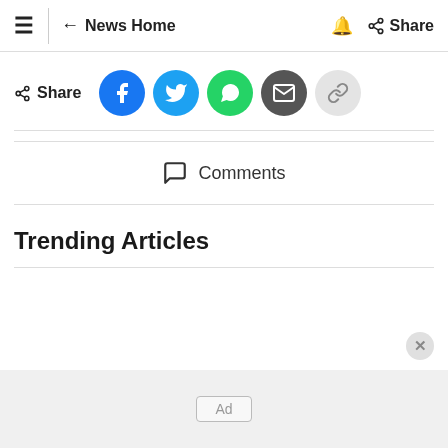≡ ← News Home 🔔 Share
Share
[Figure (other): Social share buttons: Facebook, Twitter, WhatsApp, Email, Copy Link]
Comments
Trending Articles
Ad